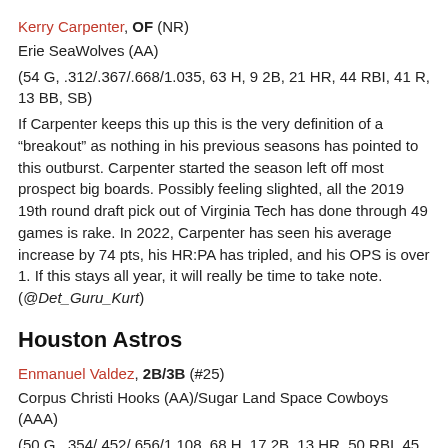Kerry Carpenter, OF (NR)
Erie SeaWolves (AA)
(54 G, .312/.367/.668/1.035, 63 H, 9 2B, 21 HR, 44 RBI, 41 R, 13 BB, SB)
If Carpenter keeps this up this is the very definition of a “breakout” as nothing in his previous seasons has pointed to this outburst. Carpenter started the season left off most prospect big boards. Possibly feeling slighted, all the 2019 19th round draft pick out of Virginia Tech has done through 49 games is rake. In 2022, Carpenter has seen his average increase by 74 pts, his HR:PA has tripled, and his OPS is over 1. If this stays all year, it will really be time to take note. (@Det_Guru_Kurt)
Houston Astros
Enmanuel Valdez, 2B/3B (#25)
Corpus Christi Hooks (AA)/Sugar Land Space Cowboys (AAA)
(50 G, .354/.452/.656/1.108, 68 H, 17 2B, 13 HR, 50 RBI, 45 R, 35 BB, 4 SB)